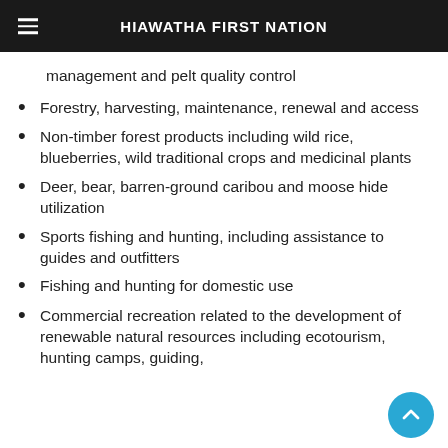HIAWATHA FIRST NATION
management and pelt quality control
Forestry, harvesting, maintenance, renewal and access
Non-timber forest products including wild rice, blueberries, wild traditional crops and medicinal plants
Deer, bear, barren-ground caribou and moose hide utilization
Sports fishing and hunting, including assistance to guides and outfitters
Fishing and hunting for domestic use
Commercial recreation related to the development of renewable natural resources including ecotourism, hunting camps, guiding,